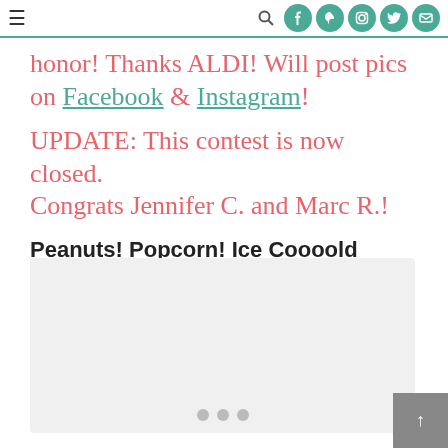Navigation header with menu, search, Facebook, Pinterest, Instagram, Twitter, Email icons
honor! Thanks ALDI! Will post pics on Facebook & Instagram!
UPDATE: This contest is now closed. Congrats Jennifer C. and Marc R.!
Peanuts! Popcorn! Ice Coooold Soda!
[Figure (photo): Image placeholder with three slider dots at the bottom center]